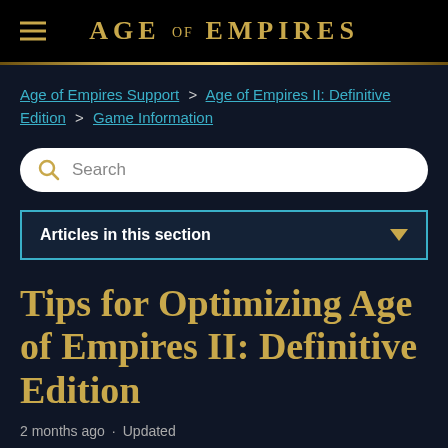AGE OF EMPIRES
Age of Empires Support > Age of Empires II: Definitive Edition > Game Information
Search
Articles in this section
Tips for Optimizing Age of Empires II: Definitive Edition
2 months ago · Updated